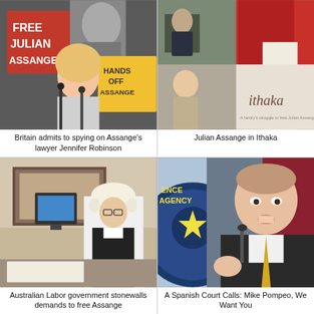[Figure (photo): Woman speaking at microphone with protest signs reading 'FREE JULIAN ASSANGE' and 'HANDS OFF ASSANGE' in background]
Britain admits to spying on Assange's lawyer Jennifer Robinson
[Figure (photo): Collage of images related to Ithaka documentary about Julian Assange, including people and movie poster text]
Julian Assange in Ithaka
[Figure (photo): Courtroom sketch showing a lawyer in wig and gown at a desk with a computer]
Australian Labor government stonewalls demands to free Assange
[Figure (photo): Mike Pompeo speaking at podium with CIA seal visible in background]
A Spanish Court Calls: Mike Pompeo, We Want You